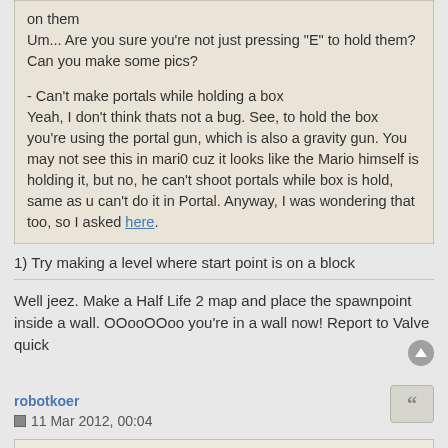on them
Um... Are you sure you're not just pressing "E" to hold them? Can you make some pics?
- Can't make portals while holding a box
Yeah, I don't think thats not a bug. See, to hold the box you're using the portal gun, which is also a gravity gun. You may not see this in mari0 cuz it looks like the Mario himself is holding it, but no, he can't shoot portals while box is hold, same as u can't do it in Portal. Anyway, I was wondering that too, so I asked here.
1) Try making a level where start point is on a block
Well jeez. Make a Half Life 2 map and place the spawnpoint inside a wall. OOooOOoo you're in a wall now! Report to Valve quick
robotkoer
11 Mar 2012, 00:04
Maurice wrote:
robotkoer wrote: